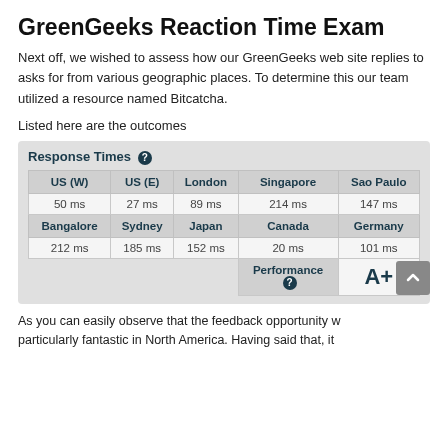GreenGeeks Reaction Time Exam
Next off, we wished to assess how our GreenGeeks web site replies to asks for from various geographic places. To determine this our team utilized a resource named Bitcatcha.
Listed here are the outcomes
| US (W) | US (E) | London | Singapore | Sao Paulo | Bangalore | Sydney | Japan | Canada | Germany | Performance | Grade |
| --- | --- | --- | --- | --- | --- | --- | --- | --- | --- | --- | --- |
| 50 ms | 27 ms | 89 ms | 214 ms | 147 ms |
| 212 ms | 185 ms | 152 ms | 20 ms | 101 ms |
|  |  |  | Performance | A+ |
As you can easily observe that the feedback opportunity w particularly fantastic in North America. Having said that, it